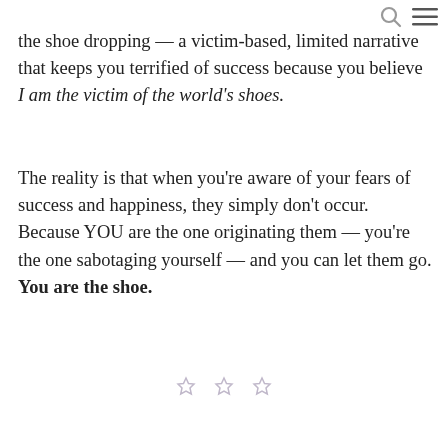[search icon] [menu icon]
the shoe dropping — a victim-based, limited narrative that keeps you terrified of success because you believe I am the victim of the world's shoes.
The reality is that when you're aware of your fears of success and happiness, they simply don't occur. Because YOU are the one originating them — you're the one sabotaging yourself — and you can let them go. You are the shoe.